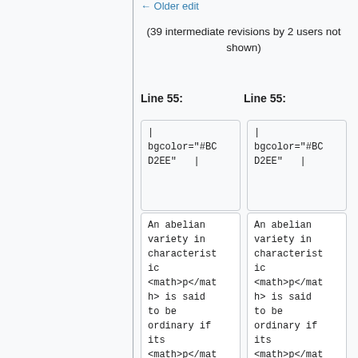← Older edit
(39 intermediate revisions by 2 users not shown)
Line 55:	Line 55:
| bgcolor="#BCD2EE"  |
| bgcolor="#BCD2EE"  |
An abelian variety in characteristic <math>p</math> is said to be ordinary if its <math>p</math> torsion is as large
An abelian variety in characteristic <math>p</math> is said to be ordinary if its <math>p</math> torsion is as large